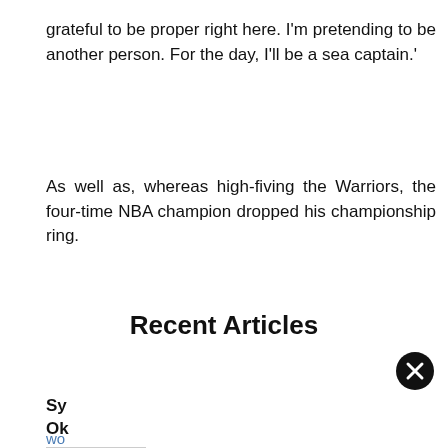grateful to be proper right here. I'm pretending to be another person. For the day, I'll be a sea captain.'
As well as, whereas high-fiving the Warriors, the four-time NBA champion dropped his championship ring.
Recent Articles
Sy Ok
wo